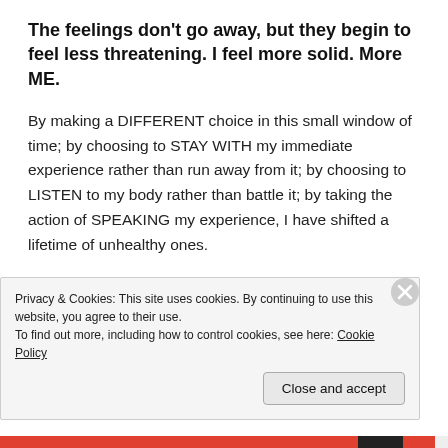The feelings don't go away, but they begin to feel less threatening. I feel more solid. More ME.
By making a DIFFERENT choice in this small window of time; by choosing to STAY WITH my immediate experience rather than run away from it; by choosing to LISTEN to my body rather than battle it; by taking the action of SPEAKING my experience, I have shifted a lifetime of unhealthy ones.
Because now there is a BEACON for the next time. A memory that I can do this, that I didn't run, and
Privacy & Cookies: This site uses cookies. By continuing to use this website, you agree to their use.
To find out more, including how to control cookies, see here: Cookie Policy
Close and accept